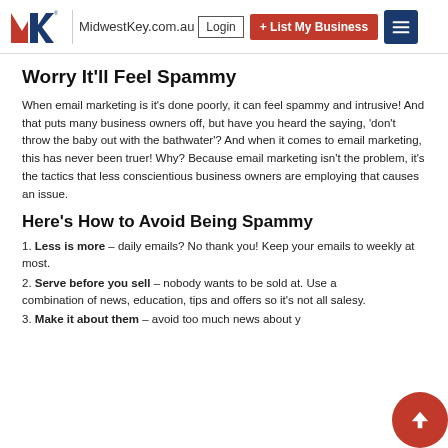MidwestKey.com.au | Login | + List My Business
Worry It'll Feel Spammy
When email marketing is it's done poorly, it can feel spammy and intrusive! And that puts many business owners off, but have you heard the saying, 'don't throw the baby out with the bathwater'? And when it comes to email marketing, this has never been truer! Why? Because email marketing isn't the problem, it's the tactics that less conscientious business owners are employing that causes an issue.
Here's How to Avoid Being Spammy
1. Less is more – daily emails? No thank you! Keep your emails to weekly at most.
2. Serve before you sell – nobody wants to be sold at. Use a combination of news, education, tips and offers so it's not all salesy.
3. Make it about them – avoid too much news about y...